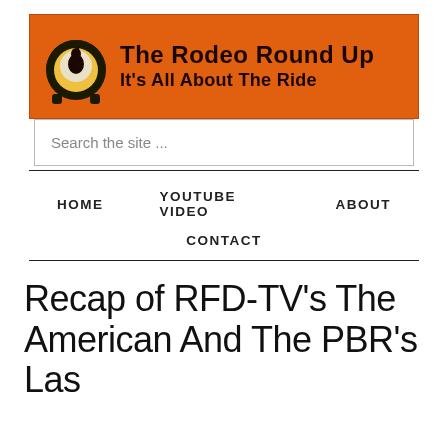[Figure (logo): The Rodeo Round Up banner with orange background, horseshoe logo, and text 'The Rodeo Round Up - It's All About The Ride']
Search the site ...
HOME   YOUTUBE VIDEO   ABOUT   CONTACT
Recap of RFD-TV's The American And The PBR's Las Vegas...